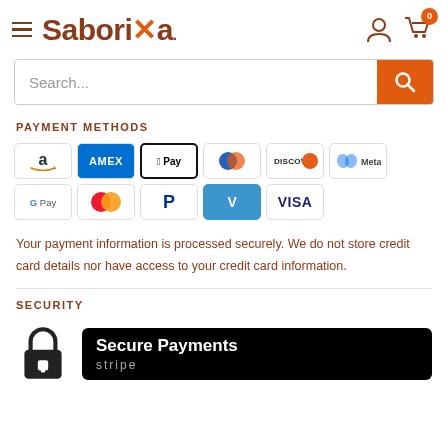[Figure (logo): Saborixa logo with hamburger menu, user icon, and cart icon with badge 0]
[Figure (screenshot): Search bar with placeholder text 'Search...' and orange search button]
PAYMENT METHODS
[Figure (other): Payment method icons: Amazon, Amex, Apple Pay, Diners Club, Discover, Meta, Google Pay, Mastercard, PayPal, Venmo, Visa]
Your payment information is processed securely. We do not store credit card details nor have access to your credit card information.
SECURITY
[Figure (other): Secure Payments banner with lock icon and Stripe logo on black background]